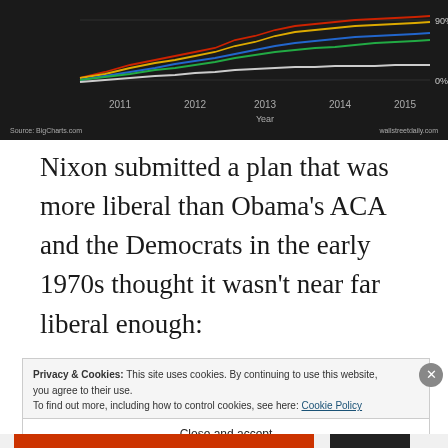[Figure (continuous-plot): Line chart showing multiple stock or index performance lines (red, yellow, blue, green, white/gray) trending upward from 2011 to 2015, with y-axis showing 0% to 90% and x-axis showing years 2011-2015. Source: BigCharts.com and wallstreetdaily.com]
Nixon submitted a plan that was more liberal than Obama's ACA and the Democrats in the early 1970s thought it wasn't near far liberal enough:
Privacy & Cookies: This site uses cookies. By continuing to use this website, you agree to their use.
To find out more, including how to control cookies, see here: Cookie Policy
Close and accept